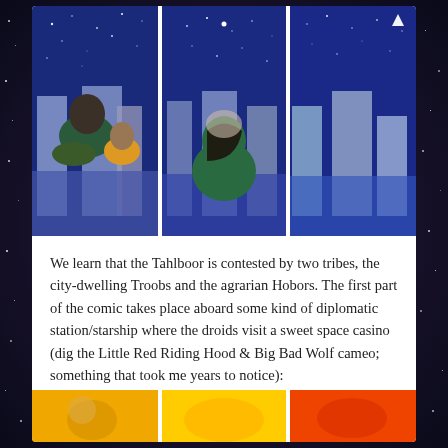[Figure (illustration): Three-panel comic illustration showing figures in green robes sitting and looking at a starry night sky with blue rocky canyon formations in the background]
We learn that the Tahlboor is contested by two tribes, the city-dwelling Troobs and the agrarian Hobors. The first part of the comic takes place aboard some kind of diplomatic station/starship where the droids visit a sweet space casino (dig the Little Red Riding Hood & Big Bad Wolf cameo; something that took me years to notice):
[Figure (illustration): Partial view of colorful comic panels at the bottom, showing yellow and red/orange imagery]